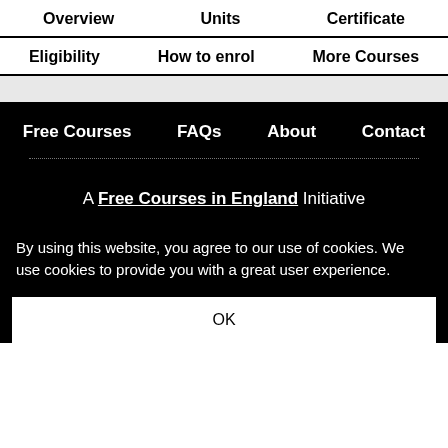Overview  Units  Certificate
Eligibility  How to enrol  More Courses
Free Courses  FAQs  About  Contact
A Free Courses in England Initiative
By using this website, you agree to our use of cookies. We use cookies to provide you with a great user experience.
OK